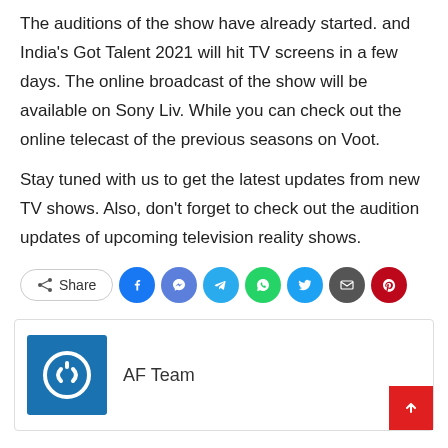The auditions of the show have already started. and India's Got Talent 2021 will hit TV screens in a few days. The online broadcast of the show will be available on Sony Liv. While you can check out the online telecast of the previous seasons on Voot.
Stay tuned with us to get the latest updates from new TV shows. Also, don't forget to check out the audition updates of upcoming television reality shows.
[Figure (infographic): Social share buttons row: Share button with icon, followed by circular icon buttons for Facebook, Messenger, Telegram, WhatsApp, Twitter, Email, and Pinterest]
AF Team